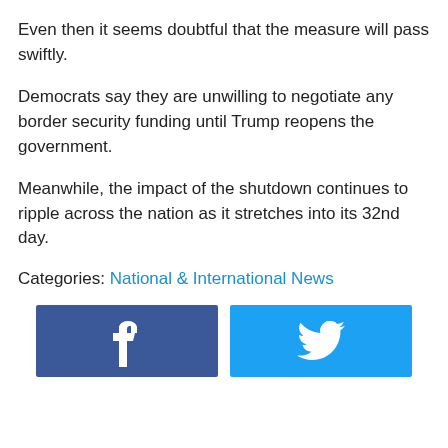Even then it seems doubtful that the measure will pass swiftly.
Democrats say they are unwilling to negotiate any border security funding until Trump reopens the government.
Meanwhile, the impact of the shutdown continues to ripple across the nation as it stretches into its 32nd day.
Categories: National & International News
[Figure (other): Facebook and Twitter social share buttons]